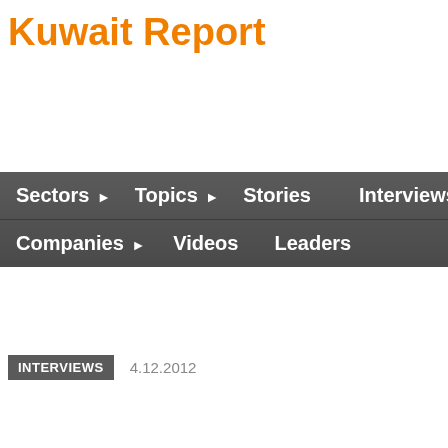Kuwait Report
Sectors ▶   Topics ▶   Stories   Interviews ▶   Companies ▶   Videos   Leaders
INTERVIEWS   4.12.2012